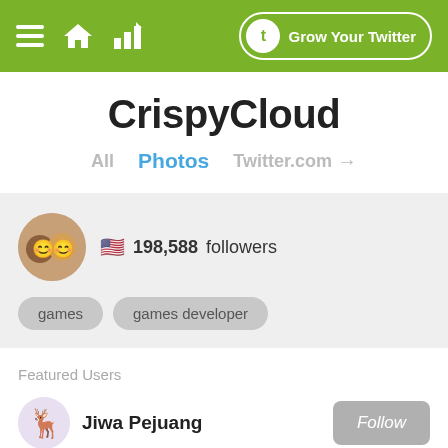Grow Your Twitter
CrispyCloud
All  Photos  Twitter.com
198,588 followers
games
games developer
Featured Users
Jiwa Pejuang
Follow